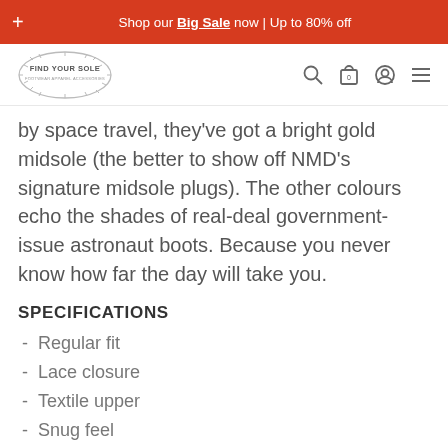Shop our Big Sale now | Up to 80% off
[Figure (logo): Find Your Sole footwear apparel accessories logo]
by space travel, they've got a bright gold midsole (the better to show off NMD's signature midsole plugs). The other colours echo the shades of real-deal government-issue astronaut boots. Because you never know how far the day will take you.
SPECIFICATIONS
Regular fit
Lace closure
Textile upper
Snug feel